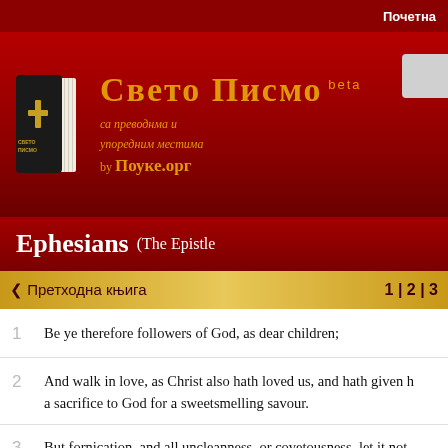Почетна
[Figure (logo): Свето Писмо logo with book icon, subtitle са преводнма и упоредним местима, by Поуке.орг, beta]
Ephesians (The Epistle
< Претходна књига    1 | 2 | 3
1   Be ye therefore followers of God, as dear children;
2   And walk in love, as Christ also hath loved us, and hath given h... a sacrifice to God for a sweetsmelling savour.
3   But fornication, and all uncleanness, or covetousness, let it not...